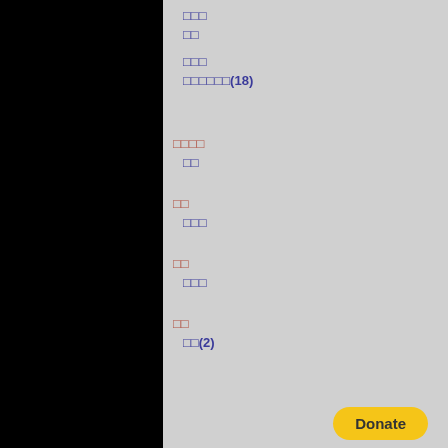□□□
□□
□□□
□□□□□□(18)
□□□□
□□
□□
□□□
□□
□□□
□□
□□□(2)